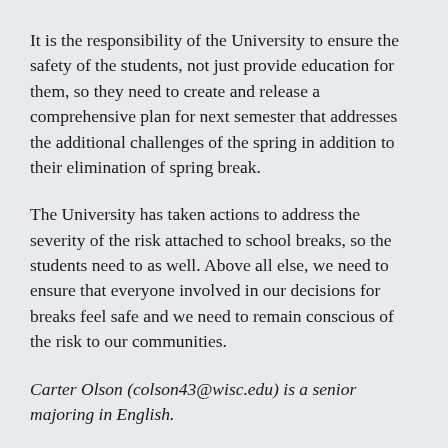It is the responsibility of the University to ensure the safety of the students, not just provide education for them, so they need to create and release a comprehensive plan for next semester that addresses the additional challenges of the spring in addition to their elimination of spring break.
The University has taken actions to address the severity of the risk attached to school breaks, so the students need to as well. Above all else, we need to ensure that everyone involved in our decisions for breaks feel safe and we need to remain conscious of the risk to our communities.
Carter Olson (colson43@wisc.edu) is a senior majoring in English.